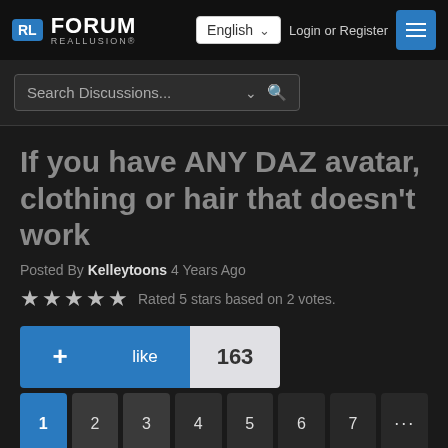RL FORUM REALLUSION
Search Discussions...
If you have ANY DAZ avatar, clothing or hair that doesn't work
Posted By Kelleytoons 4 Years Ago
Rated 5 stars based on 2 votes.
+ like 163
1 2 3 4 5 6 7 ... 44